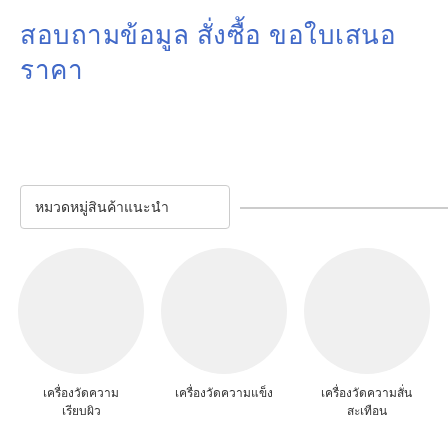สอบถามข้อมูล สั่งซื้อ ขอใบเสนอราคา
หมวดหมู่สินค้าแนะนำ
[Figure (illustration): Three circular product category icons in a row, each with a light gray circle placeholder image above a Thai label: เครื่องวัดความเรียบผิว, เครื่องวัดความแข็ง, เครื่องวัดความสั่นสะเทือน]